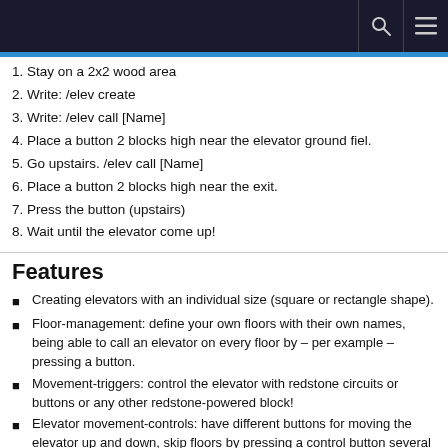1. Stay on a 2x2 wood area
2. Write: /elev create
3. Write: /elev call [Name]
4. Place a button 2 blocks high near the elevator ground fiel.
5. Go upstairs. /elev call [Name]
6. Place a button 2 blocks high near the exit.
7. Press the button (upstairs)
8. Wait until the elevator come up!
Features
Creating elevators with an individual size (square or rectangle shape).
Floor-management: define your own floors with their own names, being able to call an elevator on every floor by – per example – pressing a button.
Movement-triggers: control the elevator with redstone circuits or buttons or any other redstone-powered block!
Elevator movement-controls: have different buttons for moving the elevator up and down, skip floors by pressing a control button several times.
Command-queuing: the elevator will move to the different floors